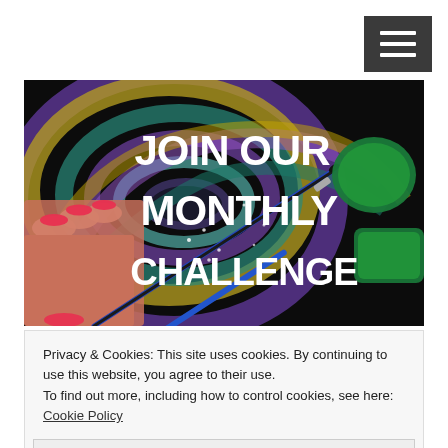[Figure (photo): A hand holding a thin paintbrush over a galaxy-themed swirl painting on dark canvas, with colorful swirling stripes in purple, yellow, teal, green. A green ink pad and a blue lid are visible on the right. Bold white text overlay reads: JOIN OUR MONTHLY CHALLENGE]
JOIN OUR MONTHLY CHALLENGE
Privacy & Cookies: This site uses cookies. By continuing to use this website, you agree to their use.
To find out more, including how to control cookies, see here: Cookie Policy
Close and accept